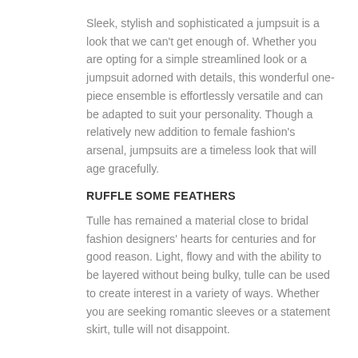Sleek, stylish and sophisticated a jumpsuit is a look that we can't get enough of. Whether you are opting for a simple streamlined look or a jumpsuit adorned with details, this wonderful one-piece ensemble is effortlessly versatile and can be adapted to suit your personality. Though a relatively new addition to female fashion's arsenal, jumpsuits are a timeless look that will age gracefully.
RUFFLE SOME FEATHERS
Tulle has remained a material close to bridal fashion designers' hearts for centuries and for good reason. Light, flowy and with the ability to be layered without being bulky, tulle can be used to create interest in a variety of ways. Whether you are seeking romantic sleeves or a statement skirt, tulle will not disappoint.